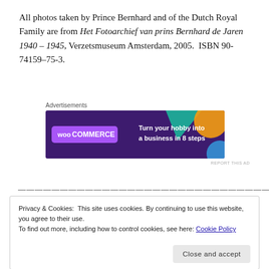All photos taken by Prince Bernhard and of the Dutch Royal Family are from Het Fotoarchief van prins Bernhard de Jaren 1940 – 1945, Verzetsmuseum Amsterdam, 2005.  ISBN 90-74159–75-3.
Advertisements
[Figure (other): WooCommerce advertisement banner: purple background with teal and orange shapes, text 'Turn your hobby into a business in 8 steps']
REPORT THIS AD
——————————————————————————————
Privacy & Cookies: This site uses cookies. By continuing to use this website, you agree to their use.
To find out more, including how to control cookies, see here: Cookie Policy
Close and accept